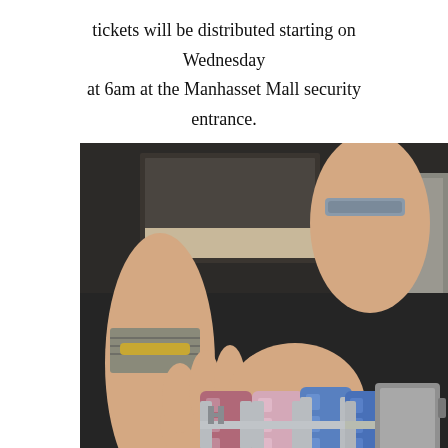tickets will be distributed starting on Wednesday at 6am at the Manhasset Mall security entrance.
[Figure (photo): Person's hands holding multiple Hermès clic H bracelets in pink, light pink, and blue colors with silver hardware, displayed in a retail store setting.]